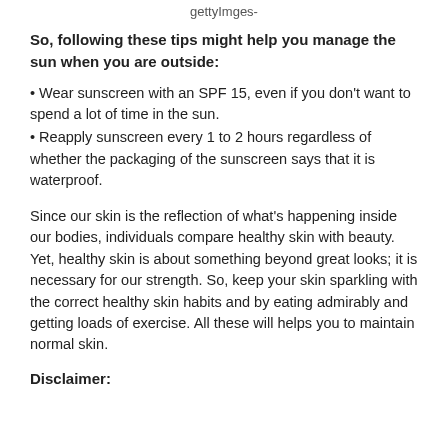gettyImges-
So, following these tips might help you manage the sun when you are outside:
• Wear sunscreen with an SPF 15, even if you don't want to spend a lot of time in the sun.
• Reapply sunscreen every 1 to 2 hours regardless of whether the packaging of the sunscreen says that it is waterproof.
Since our skin is the reflection of what's happening inside our bodies, individuals compare healthy skin with beauty. Yet, healthy skin is about something beyond great looks; it is necessary for our strength. So, keep your skin sparkling with the correct healthy skin habits and by eating admirably and getting loads of exercise. All these will helps you to maintain normal skin.
Disclaimer: